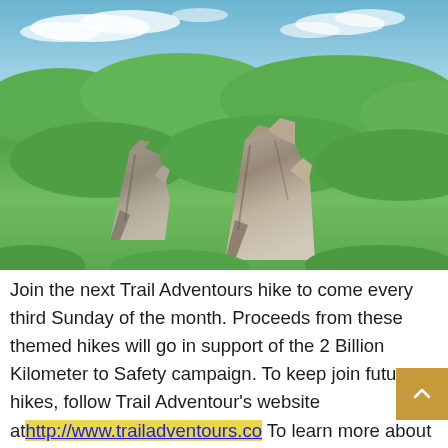[Figure (photo): Aerial/drone photograph of rocky limestone formations rising out of dense green tropical forest foliage, under a partly cloudy blue sky.]
Join the next Trail Adventours hike to come every third Sunday of the month. Proceeds from these themed hikes will go in support of the 2 Billion Kilometer to Safety campaign. To keep join future hikes, follow Trail Adventour's website at http://www.trailadventours.co To learn more about UNHCR and Trail Adventours